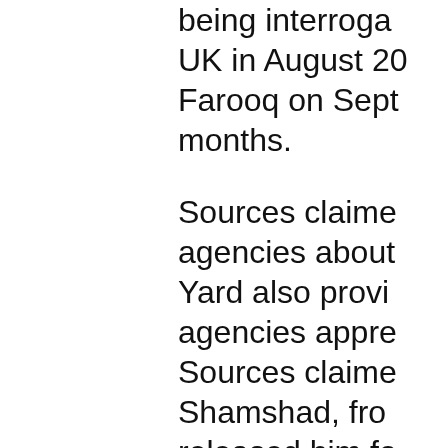being interrogated UK in August 20 Farooq on Sept months.
Sources claime agencies about Yard also provi agencies appre Sources claime Shamshad, fro released him fo government in
Later, the agen Shamshad. "Kh two arrested m
They said Khali murder of Dr F Farooq," the so